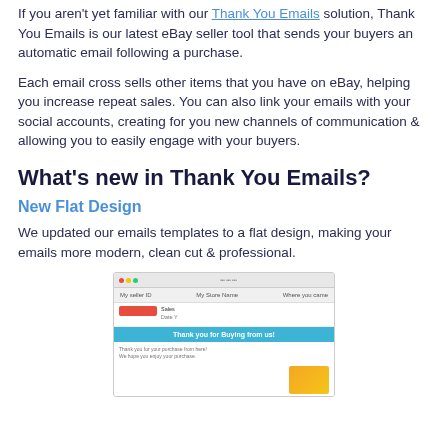If you aren't yet familiar with our Thank You Emails solution, Thank You Emails is our latest eBay seller tool that sends your buyers an automatic email following a purchase.
Each email cross sells other items that you have on eBay, helping you increase repeat sales. You can also link your emails with your social accounts, creating for you new channels of communication & allowing you to easily engage with your buyers.
What's new in Thank You Emails?
New Flat Design
We updated our emails templates to a flat design, making your emails more modern, clean cut & professional.
[Figure (screenshot): Screenshot of an email template preview showing 'My Store Name' with a 'Thank you for Buying from us!' banner in teal/blue color, with browser chrome at the top.]